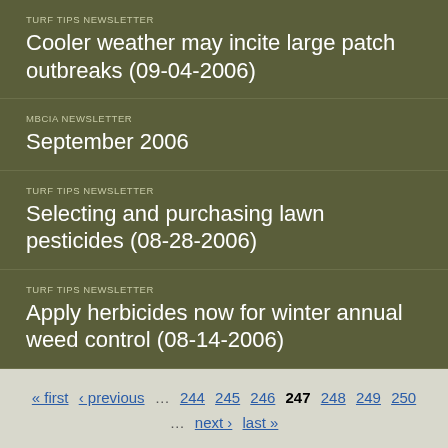TURF TIPS NEWSLETTER
Cooler weather may incite large patch outbreaks (09-04-2006)
MBCIA NEWSLETTER
September 2006
TURF TIPS NEWSLETTER
Selecting and purchasing lawn pesticides (08-28-2006)
TURF TIPS NEWSLETTER
Apply herbicides now for winter annual weed control (08-14-2006)
« first ‹ previous … 244 245 246 247 248 249 250 … next › last »